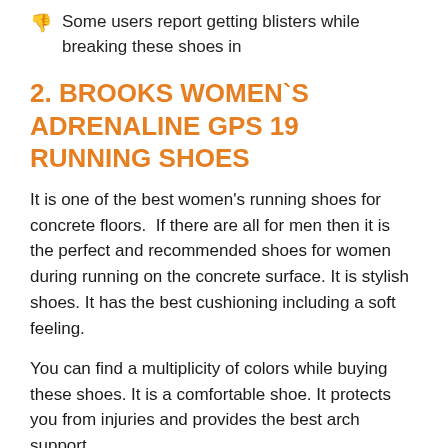Some users report getting blisters while breaking these shoes in
2. BROOKS WOMEN`S ADRENALINE GPS 19 RUNNING SHOES
It is one of the best women's running shoes for concrete floors. If there are all for men then it is the perfect and recommended shoes for women during running on the concrete surface. It is stylish shoes. It has the best cushioning including a soft feeling.
You can find a multiplicity of colors while buying these shoes. It is a comfortable shoe. It protects you from injuries and provides the best arch support.
Pros
Enough protection